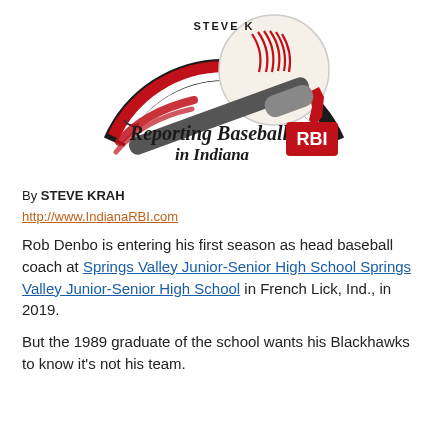[Figure (logo): Reporting Baseball in Indiana RBI logo with baseball and bat graphic]
By STEVE KRAH
http://www.IndianaRBI.com
Rob Denbo is entering his first season as head baseball coach at Springs Valley Junior-Senior High School Springs Valley Junior-Senior High School in French Lick, Ind., in 2019.
But the 1989 graduate of the school wants his Blackhawks to know it’s not his team.